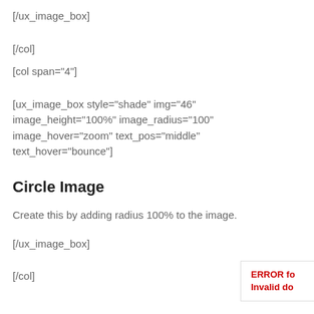[/ux_image_box]
[/col]
[col span="4"]
[ux_image_box style="shade" img="46" image_height="100%" image_radius="100" image_hover="zoom" text_pos="middle" text_hover="bounce"]
Circle Image
Create this by adding radius 100% to the image.
[/ux_image_box]
[/col]
ERROR fo
Invalid do